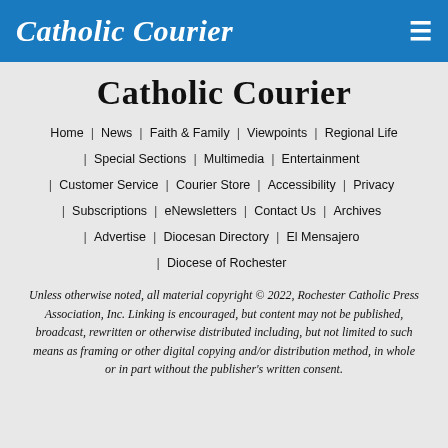Catholic Courier
Catholic Courier
Home | News | Faith & Family | Viewpoints | Regional Life | Special Sections | Multimedia | Entertainment | Customer Service | Courier Store | Accessibility | Privacy | Subscriptions | eNewsletters | Contact Us | Archives | Advertise | Diocesan Directory | El Mensajero | Diocese of Rochester
Unless otherwise noted, all material copyright © 2022, Rochester Catholic Press Association, Inc. Linking is encouraged, but content may not be published, broadcast, rewritten or otherwise distributed including, but not limited to such means as framing or other digital copying and/or distribution method, in whole or in part without the publisher's written consent.